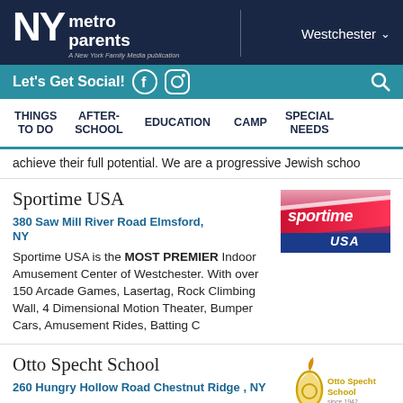NY metro parents — A New York Family Media publication — Westchester
Let's Get Social!
THINGS TO DO  AFTER-SCHOOL  EDUCATION  CAMP  SPECIAL NEEDS
achieve their full potential. We are a progressive Jewish schoo
Sportime USA
380 Saw Mill River Road Elmsford, NY
Sportime USA is the MOST PREMIER Indoor Amusement Center of Westchester. With over 150 Arcade Games, Lasertag, Rock Climbing Wall, 4 Dimensional Motion Theater, Bumper Cars, Amusement Rides, Batting C
[Figure (logo): Sportime USA logo — red, blue and pink diagonal design with 'sportime USA' text]
Otto Specht School
260 Hungry Hollow Road Chestnut Ridge , NY
At the Otto Specht School, we work
[Figure (logo): Otto Specht School logo — stylized flame/droplet shape in orange/gold with 'Otto Specht School' text]